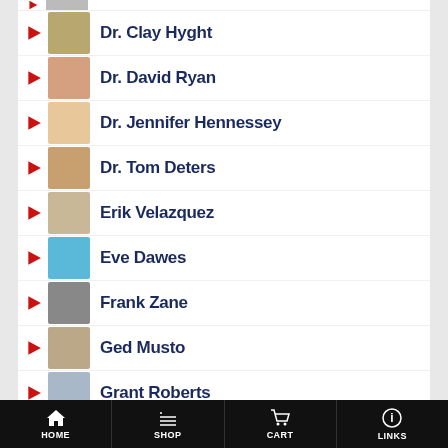Dr. Clay Hyght
Dr. David Ryan
Dr. Jennifer Hennessey
Dr. Tom Deters
Erik Velazquez
Eve Dawes
Frank Zane
Ged Musto
Grant Roberts
Greg Zulak
Hugo Rivera
HOME  SHOP  CART  LINKS